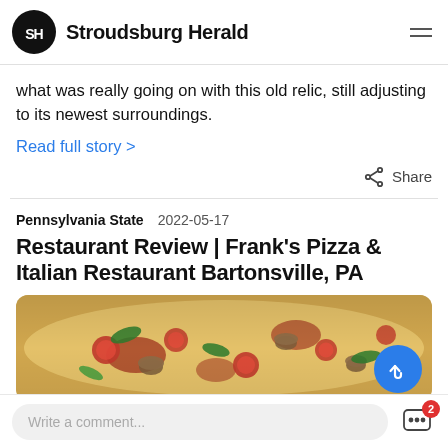Stroudsburg Herald
what was really going on with this old relic, still adjusting to its newest surroundings.
Read full story >
Share
Pennsylvania State   2022-05-17
Restaurant Review | Frank's Pizza & Italian Restaurant Bartonsville, PA
[Figure (photo): Close-up photo of a pizza topped with tomatoes, mushrooms, basil, and cheese on a wooden surface]
Write a comment...